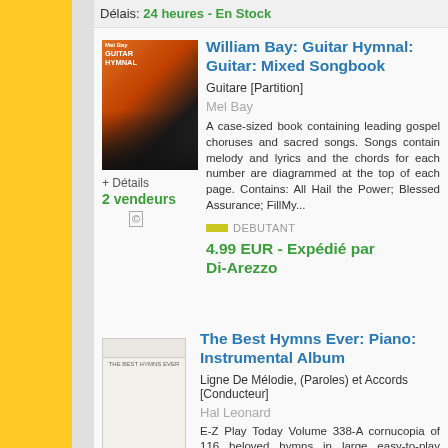Délais: 24 heures - En Stock
William Bay: Guitar Hymnal: Guitar: Mixed Songbook
Guitare [Partition]
Mel Bay
A case-sized book containing leading gospel choruses and sacred songs. Songs contain melody and lyrics and the chords for each number are diagrammed at the top of each page. Contains: All Hail the Power; Blessed Assurance; FillMy...
DEBUTANT
4.99 EUR - Expédié par Di-Arezzo
+ Détails
2 vendeurs
The Best Hymns Ever: Piano: Instrumental Album
Ligne De Mélodie, (Paroles) et Accords [Conducteur]
Hal Leonard
E-Z Play Today Volume 338-A cornucopia of 116 beloved hymns in large easy-to-play notation.
16.99 EUR - Expédié par Di-Arezzo
Délais: 24 heures - En Stock
+ Détails
2 vendeurs